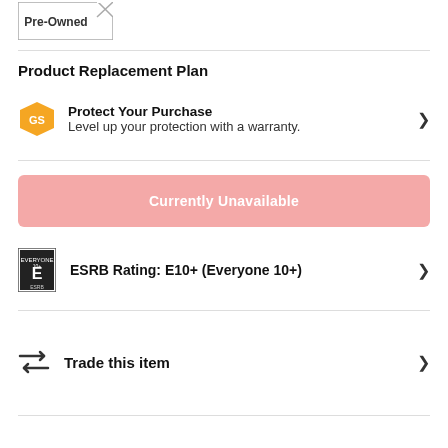[Figure (illustration): Pre-Owned label badge with border and diagonal cut corner]
Product Replacement Plan
Protect Your Purchase — Level up your protection with a warranty.
Currently Unavailable
ESRB Rating: E10+ (Everyone 10+)
Trade this item